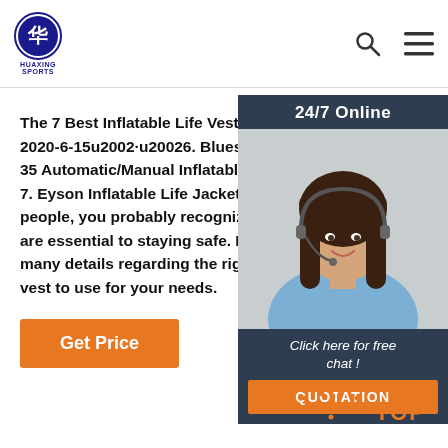HUAXING SPORTS
The 7 Best Inflatable Life Vests Of 20... 2020-6-15u2002·u20026. Bluestorm G 35 Automatic/Manual Inflatable PFD L 7. Eyson Inflatable Life Jacket. If you'r people, you probably recognize that l are essential to staying safe. However, many details regarding the right inflat vest to use for your needs.
[Figure (photo): Customer service representative woman with headset, smiling, with 24/7 Online label and chat/quotation sidebar widget]
[Figure (other): TOP button icon in orange with dotted arch above]